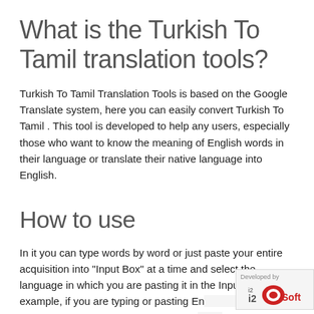What is the Turkish To Tamil translation tools?
Turkish To Tamil Translation Tools is based on the Google Translate system, here you can easily convert Turkish To Tamil . This tool is developed to help any users, especially those who want to know the meaning of English words in their language or translate their native language into English.
How to use
In it you can type words by word or just paste your entire acquisition into "Input Box" at a time and select the language in which you are pasting it in the Input Box. For example, if you are typing or pasting En... the input box, select the language of the input b... English, if you are typing or pasting English in the input